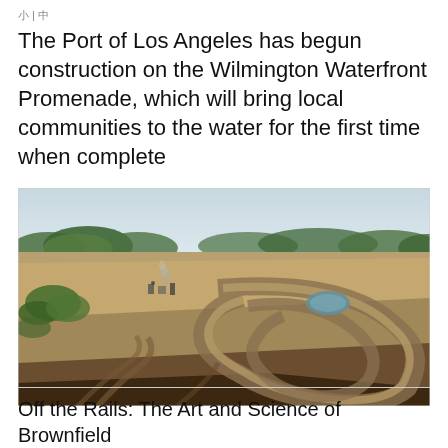小 | 中
The Port of Los Angeles has begun construction on the Wilmington Waterfront Promenade, which will bring local communities to the water for the first time when complete
[Figure (photo): Aerial view of a large construction/brownfield site showing graded earth, curved pathways or berms, a small pond, scattered construction equipment, and surrounding tree lines under an overcast sky.]
Off the Rails: The Art and Science of Brownfield